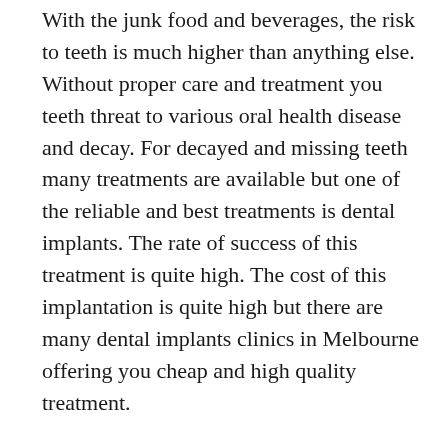With the junk food and beverages, the risk to teeth is much higher than anything else. Without proper care and treatment you teeth threat to various oral health disease and decay. For decayed and missing teeth many treatments are available but one of the reliable and best treatments is dental implants. The rate of success of this treatment is quite high. The cost of this implantation is quite high but there are many dental implants clinics in Melbourne offering you cheap and high quality treatment.